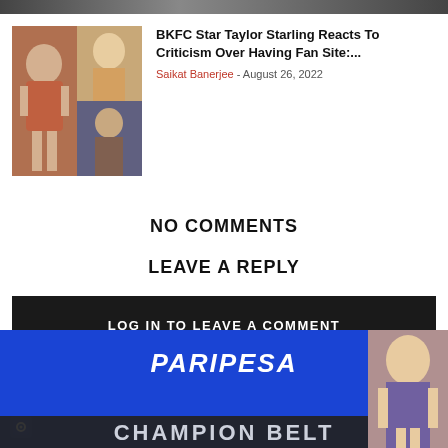[Figure (photo): Partial top image strip cropped at top of page]
[Figure (photo): Two fighter images side by side: left shows a female fighter in sports bra flexing, right shows two images stacked - top appears to be a blonde woman, bottom shows a woman in bikini]
BKFC Star Taylor Starling Reacts To Criticism Over Having Fan Site:...
Saikat Banerjee - August 26, 2022
NO COMMENTS
LEAVE A REPLY
LOG IN TO LEAVE A COMMENT
[Figure (photo): Paripesa advertisement banner with blue background, italic bold PARIPESA text, and CHAMPION BELT text at bottom, with a female model on the right side]